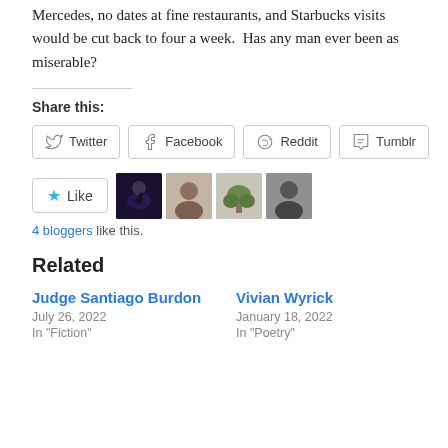Mercedes, no dates at fine restaurants, and Starbucks visits would be cut back to four a week.  Has any man ever been as miserable?
Share this:
Twitter  Facebook  Reddit  Tumblr
Like  4 bloggers like this.
Related
Judge Santiago Burdon
July 26, 2022
In "Fiction"
Vivian Wyrick
January 18, 2022
In "Poetry"